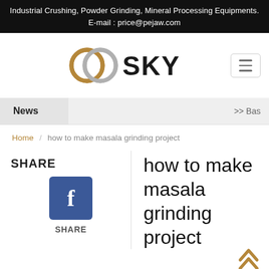Industrial Crushing, Powder Grinding, Mineral Processing Equipments.
E-mail : price@pejaw.com
[Figure (logo): GGSky company logo with golden double-ring icon and dark SKY text]
News >> Ba...
Home / how to make masala grinding project
SHARE
[Figure (other): Facebook share button with white f on blue background]
SHARE
how to make masala grinding project